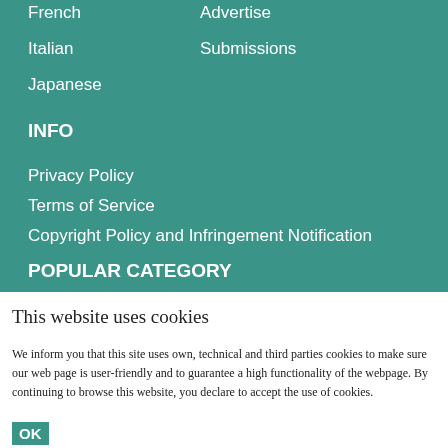French
Advertise
Italian
Submissions
Japanese
INFO
Privacy Policy
Terms of Service
Copyright Policy and Infringement Notification
POPULAR CATEGORY
This website uses cookies
We inform you that this site uses own, technical and third parties cookies to make sure our web page is user-friendly and to guarantee a high functionality of the webpage. By continuing to browse this website, you declare to accept the use of cookies.
OK